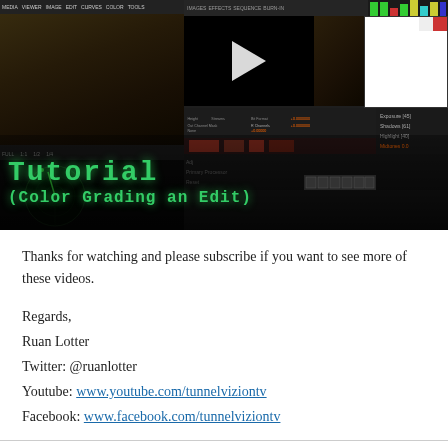[Figure (screenshot): Tutorial thumbnail showing color grading software interface with dark panels, waveform displays, color bars, play button overlay, and green text overlay reading 'Tutorial (Color Grading an Edit)']
Thanks for watching and please subscribe if you want to see more of these videos.
Regards,
Ruan Lotter
Twitter: @ruanlotter
Youtube: www.youtube.com/tunnelviziontv
Facebook: www.facebook.com/tunnelviziontv
Want to master Microsoft Excel and take your work-from-home job